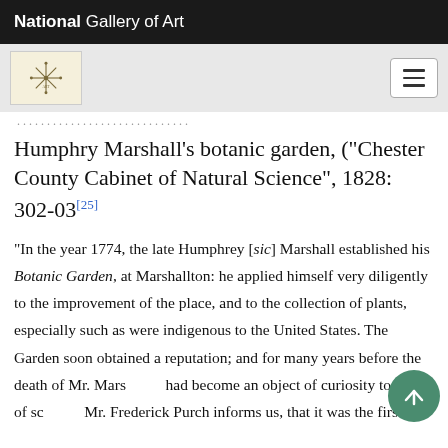National Gallery of Art
Humphry Marshall's botanic garden, ("Chester County Cabinet of Natural Science", 1828: 302-03[25]
"In the year 1774, the late Humphrey [sic] Marshall established his Botanic Garden, at Marshallton: he applied himself very diligently to the improvement of the place, and to the collection of plants, especially such as were indigenous to the United States. The Garden soon obtained a reputation; and for many years before the death of Mr. Marshall it had become an object of curiosity to men of science. Mr. Frederick Pursh informs us, that it was the first